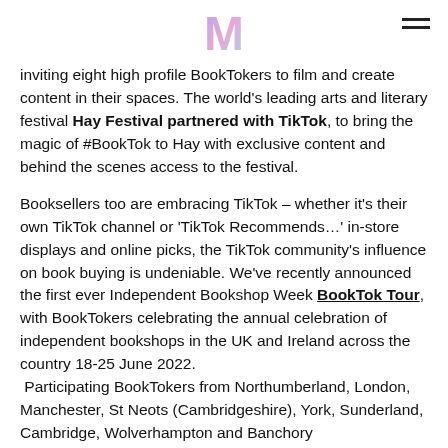M [logo] [hamburger menu]
inviting eight high profile BookTokers to film and create content in their spaces. The world's leading arts and literary festival Hay Festival partnered with TikTok, to bring the magic of #BookTok to Hay with exclusive content and behind the scenes access to the festival.
Booksellers too are embracing TikTok – whether it's their own TikTok channel or 'TikTok Recommends…' in-store displays and online picks, the TikTok community's influence on book buying is undeniable. We've recently announced the first ever Independent Bookshop Week BookTok Tour, with BookTokers celebrating the annual celebration of independent bookshops in the UK and Ireland across the country 18-25 June 2022. Participating BookTokers from Northumberland, London, Manchester, St Neots (Cambridgeshire), York, Sunderland, Cambridge, Wolverhampton and Banchory (Aberdeenshire) will be joining the celebrations by visiting